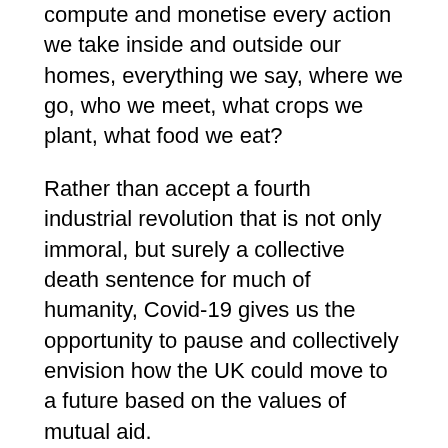compute and monetise every action we take inside and outside our homes, everything we say, where we go, who we meet, what crops we plant, what food we eat?
Rather than accept a fourth industrial revolution that is not only immoral, but surely a collective death sentence for much of humanity, Covid-19 gives us the opportunity to pause and collectively envision how the UK could move to a future based on the values of mutual aid.
This Mutualist New Deal would be guided by precaution and democratic accountability, without an unquestioning rush to adopt new technologies, particularly those owned and controlled by corporations or nation states which give scant attention to people.